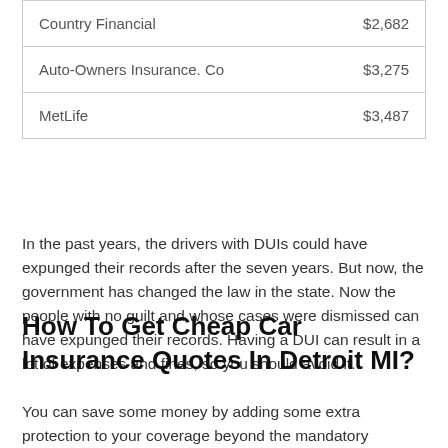| Country Financial | $2,682 |
| Auto-Owners Insurance. Co | $3,275 |
| MetLife | $3,487 |
In the past years, the drivers with DUIs could have expunged their records after the seven years. But now, the government has changed the law in the state. Now the people with no guilt and whose cases were dismissed can have expunged their records. Having a DUI can result in a lot of expenses and fines, so you should avoid it.
How To Get Cheap Car Insurance Quotes In Detroit MI?
You can save some money by adding some extra protection to your coverage beyond the mandatory coverage. The best auto insurance companies in Detroit MI will deduce some money